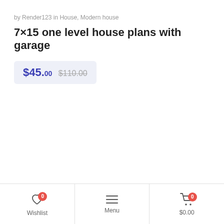by Render123 in House, Modern house
7×15 one level house plans with garage
$45.00 $110.00
Wishlist 0 | Menu | $0.00 0